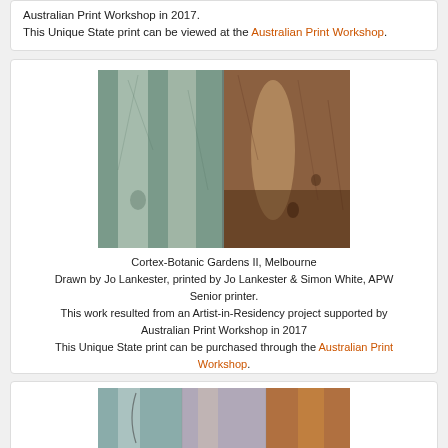Australian Print Workshop in 2017.
This Unique State print can be viewed at the Australian Print Workshop.
[Figure (photo): Artwork photo: Cortex-Botanic Gardens II, Melbourne — abstract print with teal and rust-brown tones showing vertical forms]
Cortex-Botanic Gardens II, Melbourne
Drawn by Jo Lankester, printed by Jo Lankester & Simon White, APW Senior printer.
This work resulted from an Artist-in-Residency project supported by Australian Print Workshop in 2017
This Unique State print can be purchased through the Australian Print Workshop.
[Figure (photo): Partial view of another artwork — abstract print with teal, peach and rust tones]